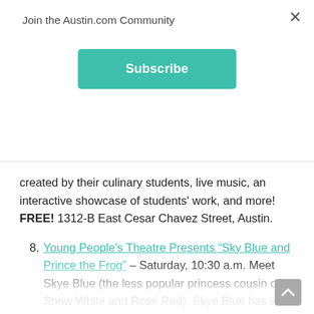Join the Austin.com Community
Subscribe
created by their culinary students, live music, an interactive showcase of students' work, and more! FREE! 1312-B East Cesar Chavez Street, Austin.
8. Young People's Theatre Presents “Sky Blue and Prince the Frog” – Saturday, 10:30 a.m. Meet Skye Blue (the less popular princess cousin of Snow White and Rose Red). Skye Blue has a major problem. Her step mommy is evil. She forces Skye to do things like chores on a Saturday. (GASP!) Skye Blue decides she must run away. To find out what becomes of Skye Blue, join the Dougherty Arts Center for the